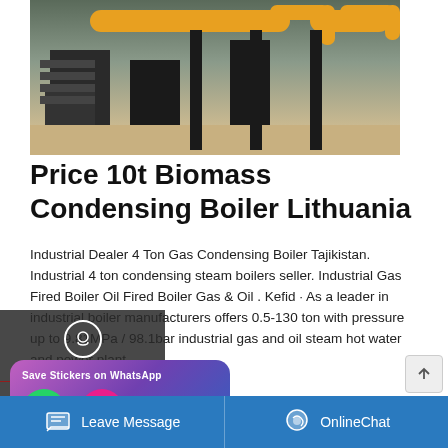[Figure (photo): Industrial boiler facility interior showing yellow pipes and dark industrial equipment]
Price 10t Biomass Condensing Boiler Lithuania
Industrial Dealer 4 Ton Gas Condensing Boiler Tajikistan. Industrial 4 ton condensing steam boilers seller. Industrial Gas Fired Boiler Oil Fired Boiler Gas & Oil . Kefid · As a leader in industrial boiler manufacturers offers 0.5-130 ton with pressure up to 9.81MPa / 98.1bar industrial gas and oil steam hot water and power plant .
[Figure (screenshot): Left sidebar with Chat, Email, Contact options on dark background]
[Figure (screenshot): Save Stickers on WhatsApp popup with green phone icon and pink emoji icon on purple gradient background]
[Figure (screenshot): Bottom blue bar with Leave Message and OnlineChat buttons]